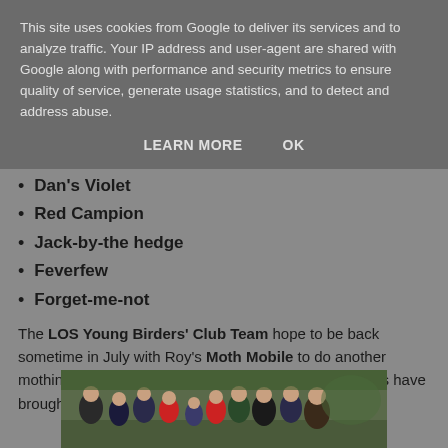This site uses cookies from Google to deliver its services and to analyze traffic. Your IP address and user-agent are shared with Google along with performance and security metrics to ensure quality of service, generate usage statistics, and to detect and address abuse.
LEARN MORE   OK
Dan's Violet
Red Campion
Jack-by-the hedge
Feverfew
Forget-me-not
The LOS Young Birders' Club Team hope to be back sometime in July with Roy's Moth Mobile to do another mothing session and to see what else the new plantings have brought to the garden.
[Figure (photo): Group photo of children outdoors, appearing to be a school group in a garden setting]